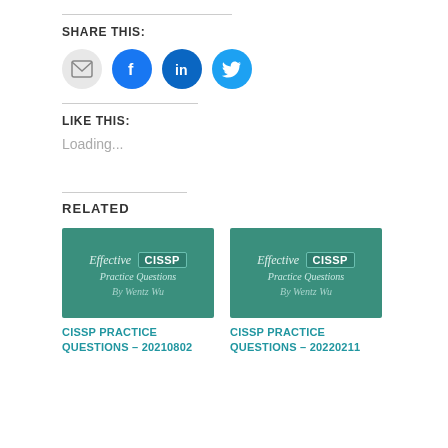SHARE THIS:
[Figure (illustration): Four social sharing icon circles: email (grey), Facebook (blue), LinkedIn (dark blue), Twitter (light blue)]
LIKE THIS:
Loading...
RELATED
[Figure (illustration): Effective CISSP Practice Questions by Wentz Wu book cover thumbnail - teal/green background]
CISSP PRACTICE QUESTIONS – 20210802
[Figure (illustration): Effective CISSP Practice Questions by Wentz Wu book cover thumbnail - teal/green background]
CISSP PRACTICE QUESTIONS – 20220211